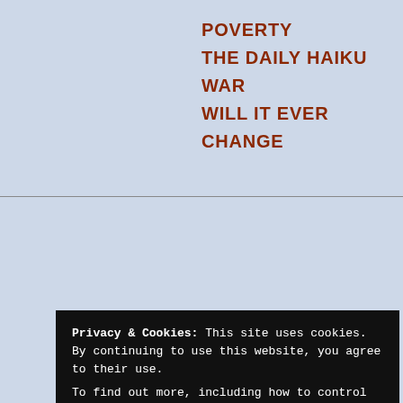POVERTY
THE DAILY HAIKU
WAR
WILL IT EVER CHANGE
The Daily Haiku - 🌹 80th Weekly
T
P
Daily Affirmations 🙋 – Affirming the
Privacy & Cookies: This site uses cookies. By continuing to use this website, you agree to their use.
To find out more, including how to control cookies, see here: Cookie Policy